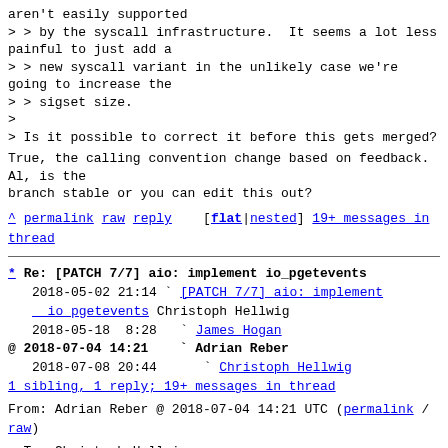aren't easily supported
> > by the syscall infrastructure.  It seems a lot less painful to just add a
> > new syscall variant in the unlikely case we're going to increase the
> > sigset size.
>
> Is it possible to correct it before this gets merged?
True, the calling convention change based on feedback. Al, is the
branch stable or you can edit this out?
^ permalink raw reply   [flat|nested] 19+ messages in thread
* Re: [PATCH 7/7] aio: implement io_pgetevents
  2018-05-02 21:14 ` [PATCH 7/7] aio: implement io_pgetevents Christoph Hellwig
  2018-05-18  8:28   ` James Hogan
@ 2018-07-04 14:21   ` Adrian Reber
  2018-07-08 20:44     ` Christoph Hellwig
  1 sibling, 1 reply; 19+ messages in thread
From: Adrian Reber @ 2018-07-04 14:21 UTC (permalink / raw)
  To: Christoph Hellwig
  Cc: viro, Avi Kivity, linux-aio, linux-fsdevel, linux-api, linux-kernel